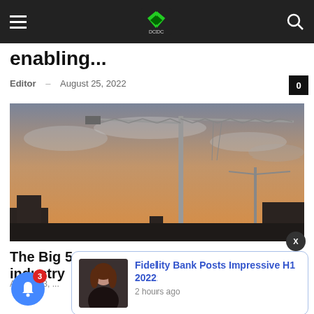Navigation bar with hamburger menu, site logo, and search icon
enabling...
Editor – August 25, 2022
[Figure (photo): Construction crane silhouetted against a golden sunset sky with buildings in the background]
The Big 5 C... for industry...
August 23, ...
[Figure (photo): Notification popup showing a woman's portrait thumbnail and headline: Fidelity Bank Posts Impressive H1 2022, 2 hours ago]